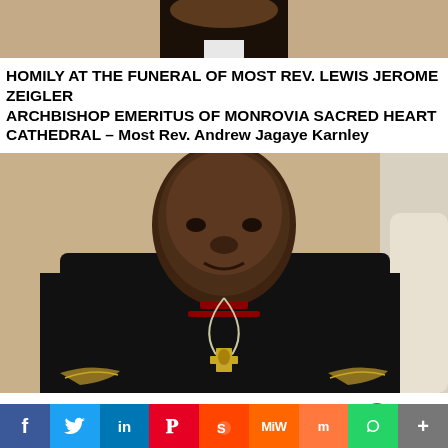[Figure (photo): Partial top portion of a person in dark clerical robes, cropped at the shoulders, visible at the very top of the page]
HOMILY AT THE FUNERAL OF MOST REV. LEWIS JEROME ZEIGLER ARCHBISHOP EMERITUS OF MONROVIA SACRED HEART CATHEDRAL – Most Rev. Andrew Jagaye Karnley
[Figure (photo): Portrait photograph of Archbishop Lewis Jerome Zeigler wearing black clerical robes with a white collar, pectoral cross with chain, and episcopal vestment details. Background is beige/cream. Another person in white is partially visible on the right edge.]
Tribute To: Archbishop Lewis Jerome Zeigler By Mr. Edmund
[Figure (infographic): Social media share bar with buttons for Facebook, Twitter, LinkedIn, Pinterest, Reddit, MeWe, Mix, WhatsApp, and More]